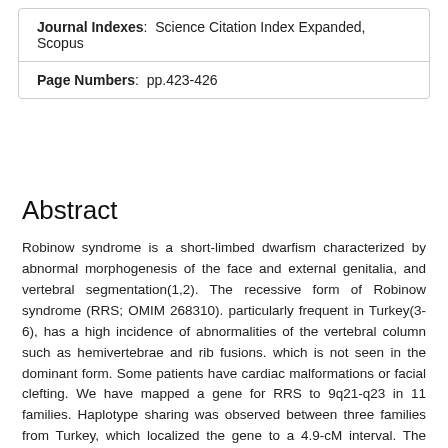Journal Indexes: Science Citation Index Expanded, Scopus
Page Numbers: pp.423-426
Abstract
Robinow syndrome is a short-limbed dwarfism characterized by abnormal morphogenesis of the face and external genitalia, and vertebral segmentation(1,2). The recessive form of Robinow syndrome (RRS; OMIM 268310). particularly frequent in Turkey(3-6), has a high incidence of abnormalities of the vertebral column such as hemivertebrae and rib fusions. which is not seen in the dominant form. Some patients have cardiac malformations or facial clefting. We have mapped a gene for RRS to 9q21-q23 in 11 families. Haplotype sharing was observed between three families from Turkey, which localized the gene to a 4.9-cM interval. The gene ROR2, which encodes an orphan membrane-bound tyrosine kinase, maps to this region. Heterozygous (presumed gain of function) mutations